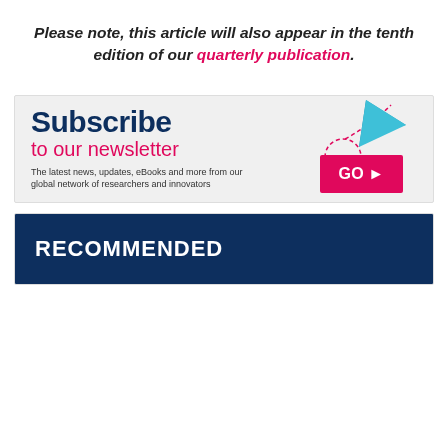Please note, this article will also appear in the tenth edition of our quarterly publication.
[Figure (infographic): Subscribe to our newsletter banner. Dark navy 'Subscribe' heading, pink 'to our newsletter' subheading, descriptive text, paper airplane graphic with dashed circle, and pink GO button.]
[Figure (infographic): Recommended section header with dark navy background and white bold 'RECOMMENDED' text.]